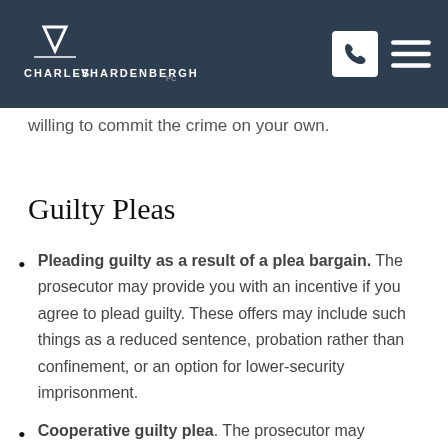Charles V Hardenbergh PC — navigation bar with logo, phone icon, and menu icon
willing to commit the crime on your own.
Guilty Pleas
Pleading guilty as a result of a plea bargain. The prosecutor may provide you with an incentive if you agree to plead guilty. These offers may include such things as a reduced sentence, probation rather than confinement, or an option for lower-security imprisonment.
Cooperative guilty plea. The prosecutor may allow you to plead guilty to...